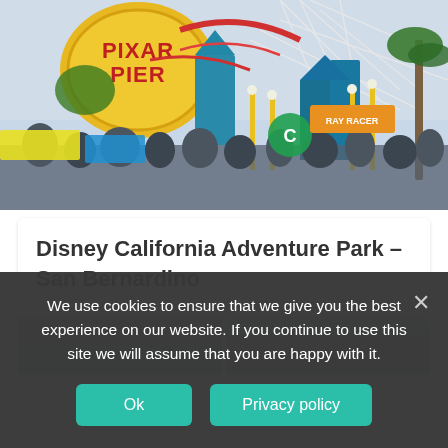[Figure (photo): Crowded Pixar Pier area at Disney California Adventure Park showing colorful rides, roller coasters, and a large Pixar Pier sign with many park visitors]
Disney California Adventure Park – San Bernardino
[Figure (photo): Two partial images at bottom of page showing outdoor scenes, cut off by cookie banner]
We use cookies to ensure that we give you the best experience on our website. If you continue to use this site we will assume that you are happy with it.